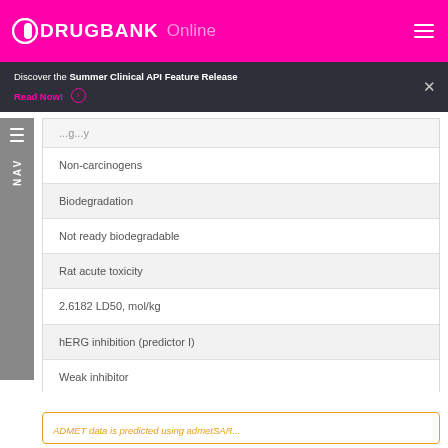DRUGBANK Online
Discover the Summer Clinical API Feature Release
Read Now!
Non-carcinogens
Biodegradation
Not ready biodegradable
Rat acute toxicity
2.6182 LD50, mol/kg
hERG inhibition (predictor I)
Weak inhibitor
hERG inhibition (predictor II)
Non-inhibitor
ADMET data is predicted using admetSAR...